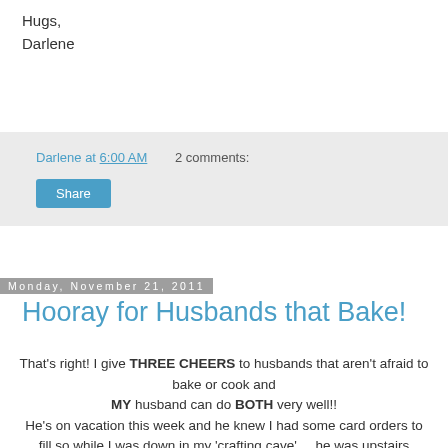Hugs,
Darlene
Darlene at 6:00 AM    2 comments:
Share
Monday, November 21, 2011
Hooray for Husbands that Bake!
That's right!  I give THREE CHEERS to husbands that aren't afraid to bake or cook and MY husband can do BOTH very well!! He's on vacation this week and he knew I had some card orders to fill so while I was down in my 'crafting cave' ... he was upstairs 'working his magic'! He said he saw this recipe (which I will share at the end of this post) in a local flyer, that sounded pretty good and wanted to give it a try.  After going through the pantry to see